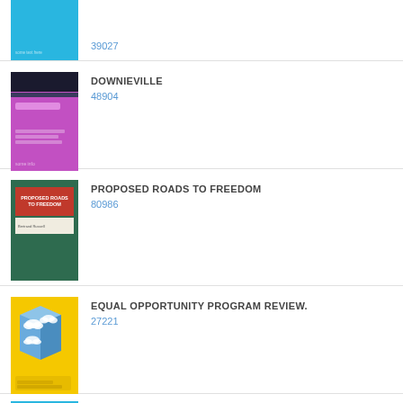[Figure (photo): Partial blue book cover (top portion cut off)]
39027
[Figure (photo): Purple/magenta book cover for DOWNIEVILLE]
DOWNIEVILLE
48904
[Figure (photo): Green book cover with red and white title area for PROPOSED ROADS TO FREEDOM]
PROPOSED ROADS TO FREEDOM
80986
[Figure (photo): Yellow book cover with cube/clouds illustration for EQUAL OPPORTUNITY PROGRAM REVIEW]
EQUAL OPPORTUNITY PROGRAM REVIEW.
27221
[Figure (photo): Partial blue book cover for THE WINSTEADS (bottom cut off)]
THE WINSTEADS